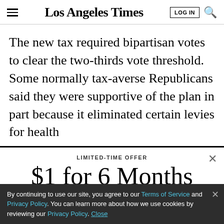Los Angeles Times
The new tax required bipartisan votes to clear the two-thirds vote threshold. Some normally tax-averse Republicans said they were supportive of the plan in part because it eliminated certain levies for health
LIMITED-TIME OFFER
$1 for 6 Months
SUBSCRIBE NOW
By continuing to use our site, you agree to our Terms of Service and Privacy Policy. You can learn more about how we use cookies by reviewing our Privacy Policy. Close